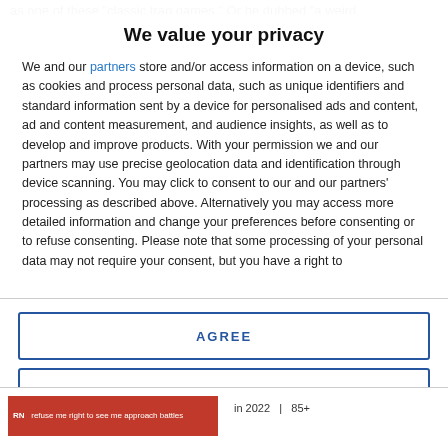as one of these "classic trap games." Or he dubbed "a weird
We value your privacy
We and our partners store and/or access information on a device, such as cookies and process personal data, such as unique identifiers and standard information sent by a device for personalised ads and content, ad and content measurement, and audience insights, as well as to develop and improve products. With your permission we and our partners may use precise geolocation data and identification through device scanning. You may click to consent to our and our partners' processing as described above. Alternatively you may access more detailed information and change your preferences before consenting or to refuse consenting. Please note that some processing of your personal data may not require your consent, but you have a right to
AGREE
MORE OPTIONS